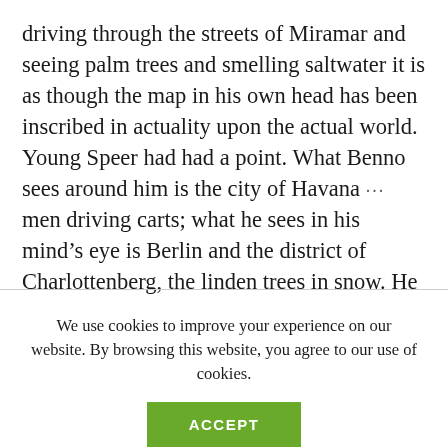driving through the streets of Miramar and seeing palm trees and smelling saltwater it is as though the map in his own head has been inscribed in actuality upon the actual world. Young Speer had had a point. What Benno sees around him is the city of Havana ··· men driving carts; what he sees in his mind's eye is Berlin and the district of Charlottenberg, the linden trees in snow. He sees his office in the early morning, clerks standing at attention, the lamps lit. At dusk, when the day's work is done, the clerks line
We use cookies to improve your experience on our website. By browsing this website, you agree to our use of cookies.
ACCEPT